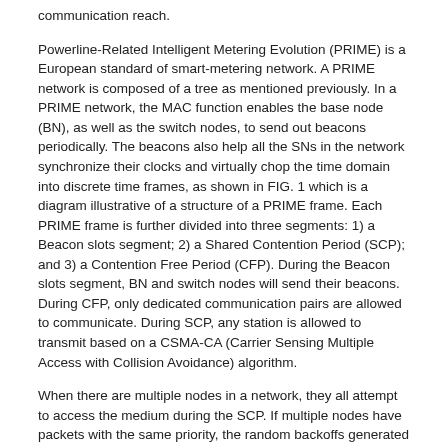communication reach.
Powerline-Related Intelligent Metering Evolution (PRIME) is a European standard of smart-metering network. A PRIME network is composed of a tree as mentioned previously. In a PRIME network, the MAC function enables the base node (BN), as well as the switch nodes, to send out beacons periodically. The beacons also help all the SNs in the network synchronize their clocks and virtually chop the time domain into discrete time frames, as shown in FIG. 1 which is a diagram illustrative of a structure of a PRIME frame. Each PRIME frame is further divided into three segments: 1) a Beacon slots segment; 2) a Shared Contention Period (SCP); and 3) a Contention Free Period (CFP). During the Beacon slots segment, BN and switch nodes will send their beacons. During CFP, only dedicated communication pairs are allowed to communicate. During SCP, any station is allowed to transmit based on a CSMA-CA (Carrier Sensing Multiple Access with Collision Avoidance) algorithm.
When there are multiple nodes in a network, they all attempt to access the medium during the SCP. If multiple nodes have packets with the same priority, the random backoffs generated for the same priority packets all fall in a narrow range, resulting in a high probability of collisions. For example, if several nodes need to send registration or keep-alive messages, which are top priority packets, the initial backoff window macSCPRBO (defined as a number of discrete small time slots) can only be selected from slot 0 to